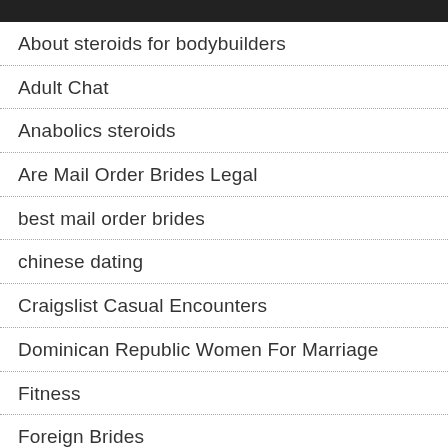About steroids for bodybuilders
Adult Chat
Anabolics steroids
Are Mail Order Brides Legal
best mail order brides
chinese dating
Craigslist Casual Encounters
Dominican Republic Women For Marriage
Fitness
Foreign Brides
Good Ways To Get Over A Breakup